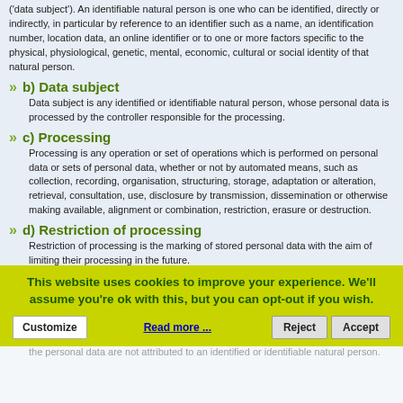('data subject'). An identifiable natural person is one who can be identified, directly or indirectly, in particular by reference to an identifier such as a name, an identification number, location data, an online identifier or to one or more factors specific to the physical, physiological, genetic, mental, economic, cultural or social identity of that natural person.
b) Data subject — Data subject is any identified or identifiable natural person, whose personal data is processed by the controller responsible for the processing.
c) Processing — Processing is any operation or set of operations which is performed on personal data or sets of personal data, whether or not by automated means, such as collection, recording, organisation, structuring, storage, adaptation or alteration, retrieval, consultation, use, disclosure by transmission, dissemination or otherwise making available, alignment or combination, restriction, erasure or destruction.
d) Restriction of processing — Restriction of processing is the marking of stored personal data with the aim of limiting their processing in the future.
e) Profiling — Profiling means any form of automated processing of personal data consisting of the use of personal data to evaluate certain personal aspects relating to a natural person, in particular to analyse or predict aspects concerning that natural person's performance at work, economic situation, health, personal preferences, interests, reliability, behaviour, location or movements.
This website uses cookies to improve your experience. We'll assume you're ok with this, but you can opt-out if you wish.
Pseudonymisation is the processing of personal data in such a manner that the personal data can no longer be attributed to a specific data subject without the use of additional information, provided that such additional information is kept separately and is subject to technical and organisational measures to ensure that the personal data are not attributed to an identified or identifiable natural person.